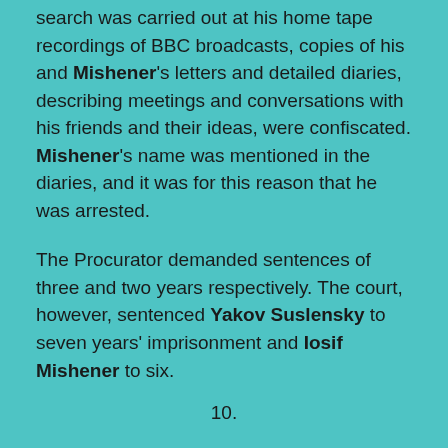Search was carried out at his home tape recordings of BBC broadcasts, copies of his and Mishener's letters and detailed diaries, describing meetings and conversations with his friends and their ideas, were confiscated. Mishener's name was mentioned in the diaries, and it was for this reason that he was arrested.
The Procurator demanded sentences of three and two years respectively. The court, however, sentenced Yakov Suslensky to seven years' imprisonment and Iosif Mishener to six.
10.
On 22 October Vitaly Pomazov (b. 1947), a time-and-motion engineer at a Gorky factory, was arrested in the city. A. M. Khokhlov, head of the investigation division of the Gorky Region KGB, was present at a...